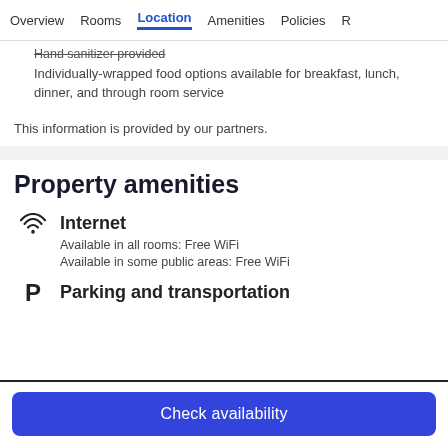Overview  Rooms  Location  Amenities  Policies  R
Hand sanitizer provided
Individually-wrapped food options available for breakfast, lunch, dinner, and through room service
This information is provided by our partners.
Property amenities
Internet
Available in all rooms: Free WiFi
Available in some public areas: Free WiFi
Parking and transportation
Check availability